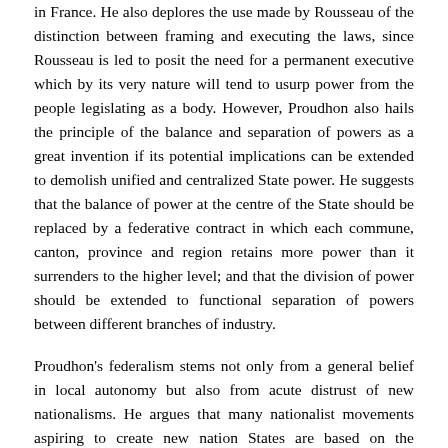in France. He also deplores the use made by Rousseau of the distinction between framing and executing the laws, since Rousseau is led to posit the need for a permanent executive which by its very nature will tend to usurp power from the people legislating as a body. However, Proudhon also hails the principle of the balance and separation of powers as a great invention if its potential implications can be extended to demolish unified and centralized State power. He suggests that the balance of power at the centre of the State should be replaced by a federative contract in which each commune, canton, province and region retains more power than it surrenders to the higher level; and that the division of power should be extended to functional separation of powers between different branches of industry.
Proudhon's federalism stems not only from a general belief in local autonomy but also from acute distrust of new nationalisms. He argues that many nationalist movements aspiring to create new nation States are based on the historical claims of old kingdoms or empires, and so embody a desire towards nationalist domination. His book on The Federative Principle is particularly critical of Italian nationalism for its lack of concern for the economic emancipation of the peasants, and its willingness to subordinate republican principles to the real politik demands of national unification under the Piedmontese King. Proudhon tries to distinguish between